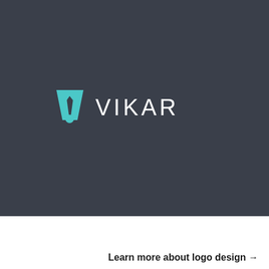[Figure (logo): Vikar logo on dark background: teal geometric W/V icon followed by white text 'VIKAR' in uppercase sans-serif]
by NISHANT
Learn more about logo design →